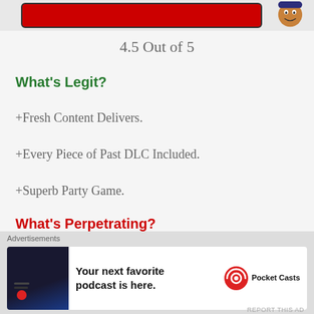[Figure (screenshot): Top portion showing a red bar game banner with cartoon character on right side]
4.5 Out of 5
What's Legit?
+Fresh Content Delivers.
+Every Piece of Past DLC Included.
+Superb Party Game.
What's Perpetrating?
[Figure (screenshot): Advertisement banner: 'Your next favorite podcast is here.' with Pocket Casts logo]